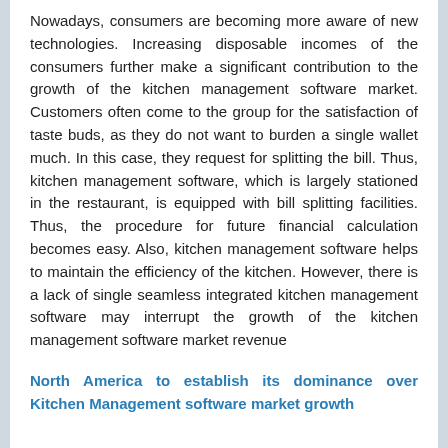Nowadays, consumers are becoming more aware of new technologies. Increasing disposable incomes of the consumers further make a significant contribution to the growth of the kitchen management software market. Customers often come to the group for the satisfaction of taste buds, as they do not want to burden a single wallet much. In this case, they request for splitting the bill. Thus, kitchen management software, which is largely stationed in the restaurant, is equipped with bill splitting facilities. Thus, the procedure for future financial calculation becomes easy. Also, kitchen management software helps to maintain the efficiency of the kitchen. However, there is a lack of single seamless integrated kitchen management software may interrupt the growth of the kitchen management software market revenue
North America to establish its dominance over Kitchen Management software market growth